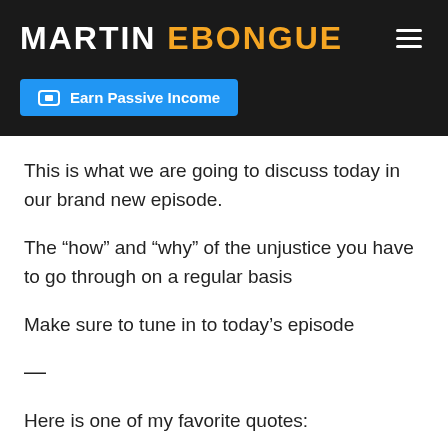MARTIN EBONGUE
[Figure (screenshot): Blue button with money icon labeled 'Earn Passive Income']
This is what we are going to discuss today in our brand new episode.
The “how” and “why” of the unjustice you have to go through on a regular basis
Make sure to tune in to today’s episode
—
Here is one of my favorite quotes: